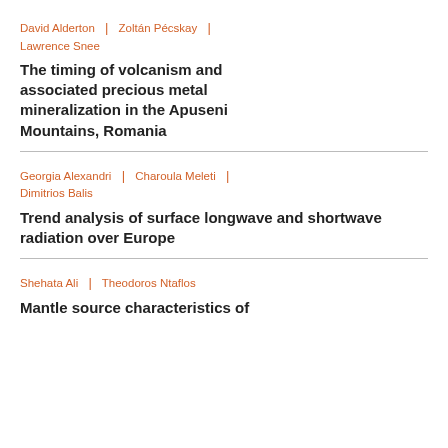David Alderton | Zoltán Pécskay | Lawrence Snee
The timing of volcanism and associated precious metal mineralization in the Apuseni Mountains, Romania
Georgia Alexandri | Charoula Meleti | Dimitrios Balis
Trend analysis of surface longwave and shortwave radiation over Europe
Shehata Ali | Theodoros Ntaflos
Mantle source characteristics of